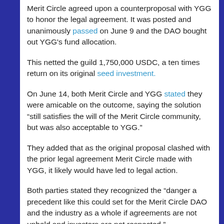Merit Circle agreed upon a counterproposal with YGG to honor the legal agreement. It was posted and unanimously passed on June 9 and the DAO bought out YGG's fund allocation.
This netted the guild 1,750,000 USDC, a ten times return on its original seed investment.
On June 14, both Merit Circle and YGG stated they were amicable on the outcome, saying the solution “still satisfies the will of the Merit Circle community, but was also acceptable to YGG.”
They added that as the original proposal clashed with the prior legal agreement Merit Circle made with YGG, it likely would have led to legal action.
Both parties stated they recognized the “danger a precedent like this could set for the Merit Circle DAO and the industry as a whole if agreements are not upheld and investors are not respected.”